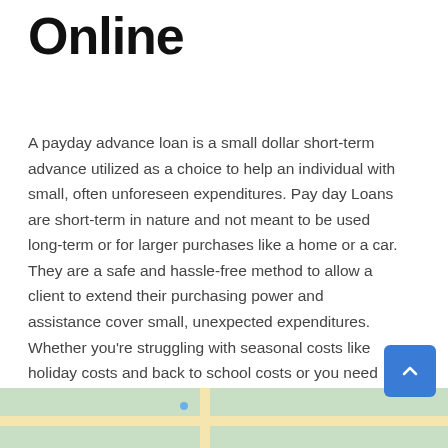Online
A payday advance loan is a small dollar short-term advance utilized as a choice to help an individual with small, often unforeseen expenditures. Pay day Loans are short-term in nature and not meant to be used long-term or for larger purchases like a home or a car. They are a safe and hassle-free method to allow a client to extend their purchasing power and assistance cover small, unexpected expenditures. Whether you're struggling with seasonal costs like holiday costs and back to school costs or you need aid with unanticipated bills, or repairs, Payday Loans in San Luis Rey can assist.
[Figure (map): Street map strip showing roads and green areas at the bottom of the page]